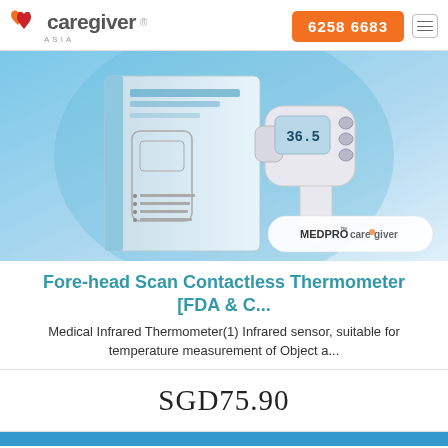[Figure (logo): Caregiver Asia logo with two hearts (orange and red) and text 'caregiver ASIA']
6258 6683
[Figure (photo): Non-Contact Infrared Thermometer product photo showing the device and its packaging box on a blue background, with MEDPRO and caregiver logos in the bottom right]
Fore-head Scan Contactless Thermometer [FDA & C...
Medical Infrared Thermometer(1) Infrared sensor, suitable for temperature measurement of Object a...
SGD75.90